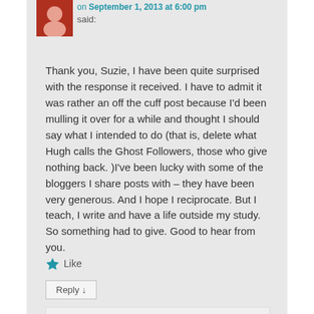on September 1, 2013 at 6:00 pm said:
Thank you, Suzie, I have been quite surprised with the response it received. I have to admit it was rather an off the cuff post because I'd been mulling it over for a while and thought I should say what I intended to do (that is, delete what Hugh calls the Ghost Followers, those who give nothing back. )I've been lucky with some of the bloggers I share posts with – they have been very generous. And I hope I reciprocate. But I teach, I write and have a life outside my study. So something had to give. Good to hear from you.
Like
Reply ↓